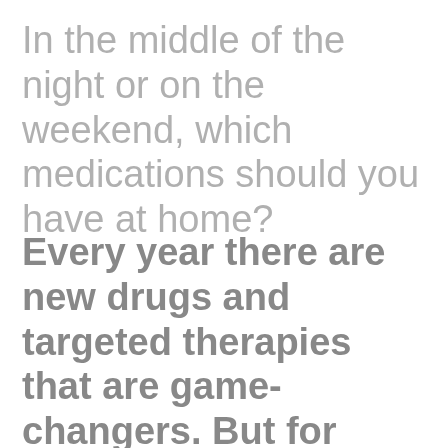In the middle of the night or on the weekend, which medications should you have at home?
Every year there are new drugs and targeted therapies that are game-changers. But for common ailments patients struggle with, primary care doctors find